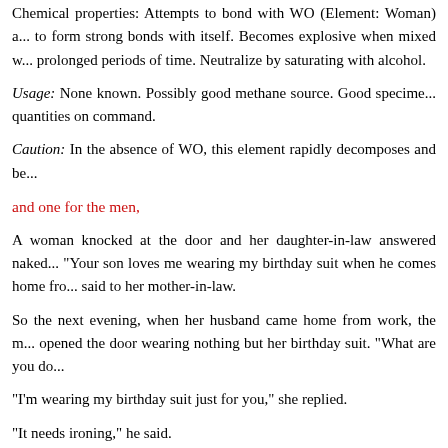Chemical properties: Attempts to bond with WO (Element: Woman) and to form strong bonds with itself. Becomes explosive when mixed w... prolonged periods of time. Neutralize by saturating with alcohol.
Usage: None known. Possibly good methane source. Good specime... quantities on command.
Caution: In the absence of WO, this element rapidly decomposes and be...
and one for the men,
A woman knocked at the door and her daughter-in-law answered naked... "Your son loves me wearing my birthday suit when he comes home fro... said to her mother-in-law.
So the next evening, when her husband came home from work, the m... opened the door wearing nothing but her birthday suit. "What are you do...
"I'm wearing my birthday suit just for you," she replied.
"It needs ironing," he said.
To your success,
Sunil